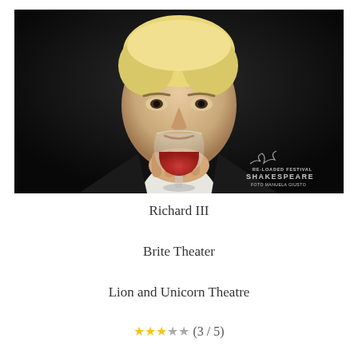[Figure (photo): A blonde performer in a dark suit sipping from a wine glass filled with red wine, looking intensely at the camera against a black background. The Shakespeare Re-Loaded Festival logo and 'FOTO MANUELA GIUSTO' watermark appear in the bottom right corner.]
Richard III
Brite Theater
Lion and Unicorn Theatre
★★★★★ (3 / 5)